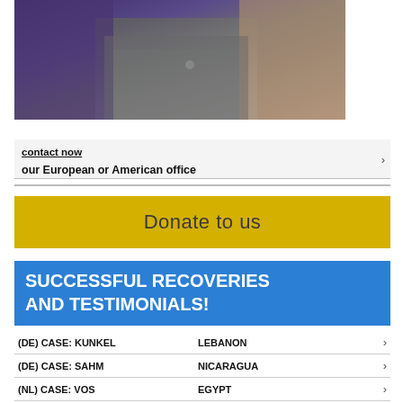[Figure (photo): Photo of people sitting closely together, showing clothing detail — purple fabric and grey jacket visible]
contact now
our European or American office
Donate to us
SUCCESSFUL RECOVERIES AND TESTIMONIALS!
(DE) CASE: KUNKEL    LEBANON
(DE) CASE: SAHM    NICARAGUA
(NL) CASE: VOS    EGYPT
(NL) CASE: CAEZ    PERU
(ES) CASE: USERA    MEXICO